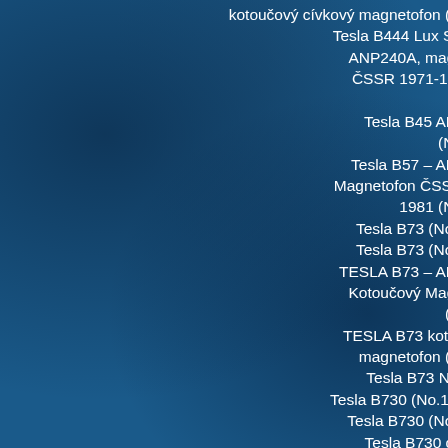kotoučový cívkový magnetofon (178458)
Tesla B444 Lux Super – ANP240A, magnetofon ČSSR 1971-1971 (No. 174814)
Tesla B45 ANP 224 (No.4630)
Tesla B57 – ANP 237 Magnetofon ČSSR 1973-1981 (No.4670)
Tesla B73 (No.2803)
Tesla B73 (No.4004)
TESLA B73 – ANP 265 Kotoučový Magnetofon (178237)
TESLA B73 kotoučový magnetofon (178398)
Tesla B73 No.2464
Tesla B730 (No.175968)
Tesla B730 (No.2907)
Tesla B730 cívkový magnetofon ČSSR 1983-1986 (No.174691)
Tesla B730 No2276